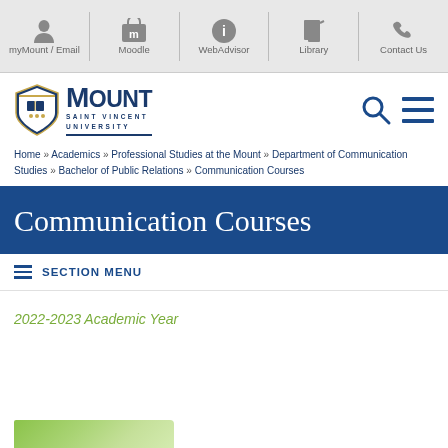myMount / Email | Moodle | WebAdvisor | Library | Contact Us
[Figure (logo): Mount Saint Vincent University logo with shield crest and text]
Home » Academics » Professional Studies at the Mount » Department of Communication Studies » Bachelor of Public Relations » Communication Courses
Communication Courses
SECTION MENU
2022-2023 Academic Year
[Figure (photo): Green leaves partial image at bottom of page]